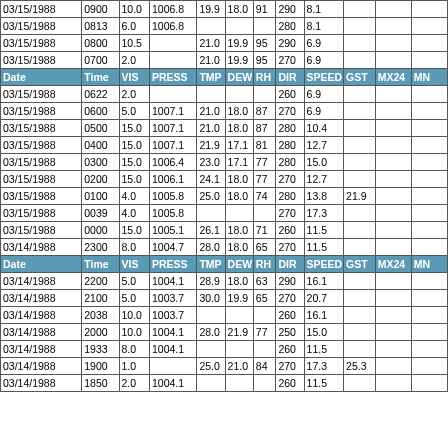| Date | Time | VIS | PRESS | TMP | DEW | RH | DIR | SPEED | GST | MX24 | MN |
| --- | --- | --- | --- | --- | --- | --- | --- | --- | --- | --- | --- |
| 03/15/1988 | 0900 | 10.0 | 1006.8 | 19.9 | 18.0 | 91 | 290 | 8.1 |  |  |  |
| 03/15/1988 | 0813 | 6.0 | 1006.8 |  |  |  | 280 | 8.1 |  |  |  |
| 03/15/1988 | 0800 | 10.5 |  | 21.0 | 19.9 | 95 | 290 | 6.9 |  |  |  |
| 03/15/1988 | 0700 | 2.0 |  | 21.0 | 19.9 | 95 | 270 | 6.9 |  |  |  |
| Date | Time | VIS | PRESS | TMP | DEW | RH | DIR | SPEED | GST | MX24 | MN |
| 03/15/1988 | 0622 | 2.0 |  |  |  |  | 260 | 6.9 |  |  |  |
| 03/15/1988 | 0600 | 5.0 | 1007.1 | 21.0 | 18.0 | 87 | 270 | 6.9 |  |  |  |
| 03/15/1988 | 0500 | 15.0 | 1007.1 | 21.0 | 18.0 | 87 | 280 | 10.4 |  |  |  |
| 03/15/1988 | 0400 | 15.0 | 1007.1 | 21.9 | 17.1 | 81 | 280 | 12.7 |  |  |  |
| 03/15/1988 | 0300 | 15.0 | 1006.4 | 23.0 | 17.1 | 77 | 280 | 15.0 |  |  |  |
| 03/15/1988 | 0200 | 15.0 | 1006.1 | 24.1 | 18.0 | 77 | 270 | 12.7 |  |  |  |
| 03/15/1988 | 0100 | 4.0 | 1005.8 | 25.0 | 18.0 | 74 | 280 | 13.8 | 21.9 |  |  |
| 03/15/1988 | 0039 | 4.0 | 1005.8 |  |  |  | 270 | 17.3 |  |  |  |
| 03/15/1988 | 0000 | 15.0 | 1005.1 | 26.1 | 18.0 | 71 | 260 | 11.5 |  |  |  |
| 03/14/1988 | 2300 | 8.0 | 1004.7 | 28.0 | 18.0 | 65 | 270 | 11.5 |  |  |  |
| Date | Time | VIS | PRESS | TMP | DEW | RH | DIR | SPEED | GST | MX24 | MN |
| 03/14/1988 | 2200 | 5.0 | 1004.1 | 28.9 | 18.0 | 63 | 290 | 16.1 |  |  |  |
| 03/14/1988 | 2100 | 5.0 | 1003.7 | 30.0 | 19.9 | 65 | 270 | 20.7 |  |  |  |
| 03/14/1988 | 2038 | 10.0 | 1003.7 |  |  |  | 260 | 16.1 |  |  |  |
| 03/14/1988 | 2000 | 10.0 | 1004.1 | 28.0 | 21.9 | 77 | 250 | 15.0 |  |  |  |
| 03/14/1988 | 1933 | 8.0 | 1004.1 |  |  |  | 260 | 11.5 |  |  |  |
| 03/14/1988 | 1900 | 1.0 |  | 25.0 | 21.0 | 84 | 270 | 17.3 | 25.3 |  |  |
| 03/14/1988 | 1850 | 2.0 | 1004.1 |  |  |  | 260 | 11.5 |  |  |  |